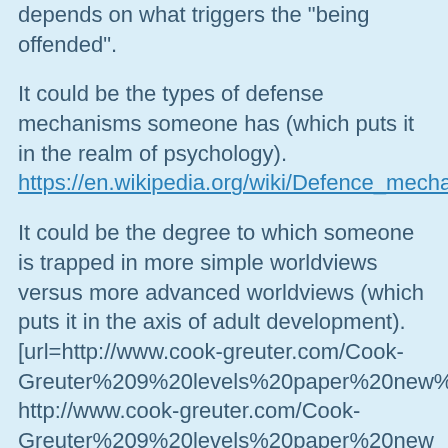depends on what triggers the "being offended".
It could be the types of defense mechanisms someone has (which puts it in the realm of psychology). https://en.wikipedia.org/wiki/Defence_mechanisms
It could be the degree to which someone is trapped in more simple worldviews versus more advanced worldviews (which puts it in the axis of adult development). [url=http://www.cook-greuter.com/Cook-Greuter%209%20levels%20paper%20new%201.1'14%2097p%5B1%5D.pdf] http://www.cook-greuter.com/Cook-Greuter%209%20levels%20paper%20new